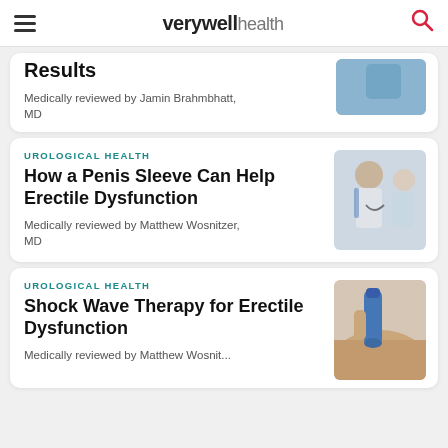verywell health
Results
Medically reviewed by Jamin Brahmbhatt, MD
UROLOGICAL HEALTH
How a Penis Sleeve Can Help Erectile Dysfunction
Medically reviewed by Matthew Wosnitzer, MD
[Figure (photo): Doctor in white coat speaking with patient]
UROLOGICAL HEALTH
Shock Wave Therapy for Erectile Dysfunction
Medically reviewed by Matthew Wosnit...
[Figure (photo): Shock wave therapy device applied to leg/body area]